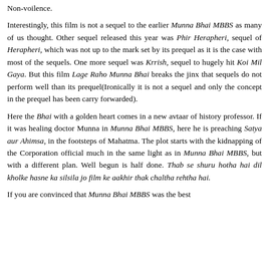Non-voilence.
Interestingly, this film is not a sequel to the earlier Munna Bhai MBBS as many of us thought. Other sequel released this year was Phir Herapheri, sequel of Herapheri, which was not up to the mark set by its prequel as it is the case with most of the sequels. One more sequel was Krrish, sequel to hugely hit Koi Mil Gaya. But this film Lage Raho Munna Bhai breaks the jinx that sequels do not perform well than its prequel(Ironically it is not a sequel and only the concept in the prequel has been carry forwarded).
Here the Bhai with a golden heart comes in a new avtaar of history professor. If it was healing doctor Munna in Munna Bhai MBBS, here he is preaching Satya aur Ahimsa, in the footsteps of Mahatma. The plot starts with the kidnapping of the Corporation official much in the same light as in Munna Bhai MBBS, but with a different plan. Well begun is half done. Thab se shuru hotha hai dil kholke hasne ka silsila jo film ke aakhir thak chaltha rehtha hai.
If you are convinced that Munna Bhai MBBS was the best